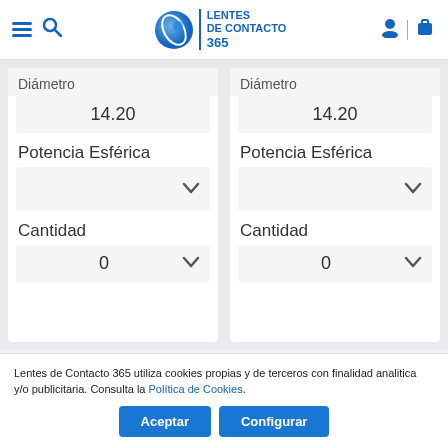[Figure (screenshot): Website header for Lentes de Contacto 365 with hamburger menu, search icon, logo, user icon, and cart icon]
Diámetro
14.20
Diámetro
14.20
Potencia Esférica
Potencia Esférica
Cantidad
0
Cantidad
0
Lentes de Contacto 365 utiliza cookies propias y de terceros con finalidad analitica y/o publicitaria. Consulta la Política de Cookies.